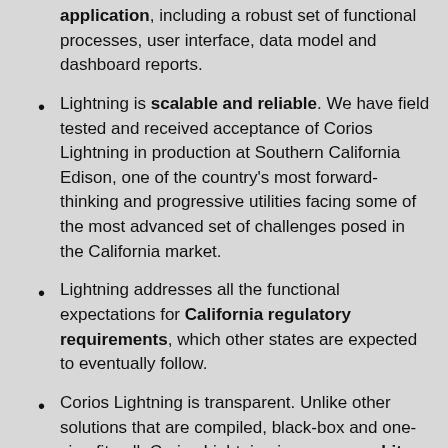application, including a robust set of functional processes, user interface, data model and dashboard reports.
Lightning is scalable and reliable. We have field tested and received acceptance of Corios Lightning in production at Southern California Edison, one of the country's most forward-thinking and progressive utilities facing some of the most advanced set of challenges posed in the California market.
Lightning addresses all the functional expectations for California regulatory requirements, which other states are expected to eventually follow.
Corios Lightning is transparent. Unlike other solutions that are compiled, black-box and one-size-fits-all, Corios Lightning is an open, white-